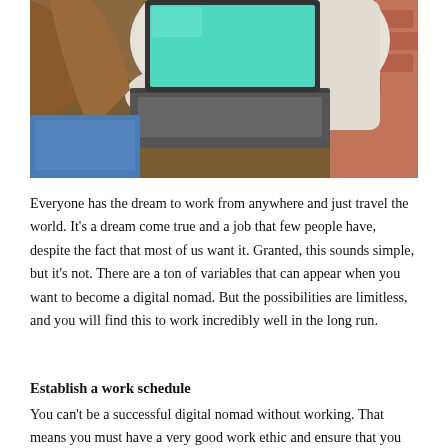[Figure (photo): Person wearing white long-sleeve shirt typing on a laptop computer at a wooden table, viewed from behind/side angle]
Everyone has the dream to work from anywhere and just travel the world. It’s a dream come true and a job that few people have, despite the fact that most of us want it. Granted, this sounds simple, but it’s not. There are a ton of variables that can appear when you want to become a digital nomad. But the possibilities are limitless, and you will find this to work incredibly well in the long run.
Establish a work schedule
You can’t be a successful digital nomad without working. That means you must have a very good work ethic and ensure that you work at least a few hours per day. Or maybe an hour, depending on what you do. Regardless, getting the work done sounds amazing, and ideally you want to do so early in the morning. This way you have all the day for